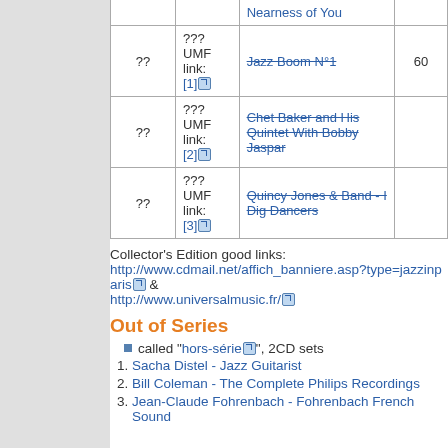| # | UMF link | Title | Num |
| --- | --- | --- | --- |
|  | Nearness of You |  |  |
| ?? | ??? UMF link: [1] | Jazz Boom N°1 | 60 |
| ?? | ??? UMF link: [2] | Chet Baker and His Quintet With Bobby Jaspar |  |
| ?? | ??? UMF link: [3] | Quincy Jones & Band - I Dig Dancers |  |
Collector's Edition good links: http://www.cdmail.net/affich_banniere.asp?type=jazzinparis & http://www.universalmusic.fr/
Out of Series
called "hors-série", 2CD sets
Sacha Distel - Jazz Guitarist
Bill Coleman - The Complete Philips Recordings
Jean-Claude Fohrenbach - Fohrenbach French Sound